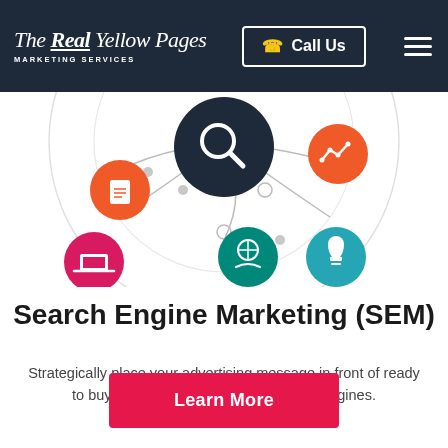The Real Yellow Pages MARKETING SERVICES | Call Us | [menu]
[Figure (infographic): Circular hub-and-spoke marketing services diagram with a central dark circle containing a magnifying glass icon, surrounded by colored circles: orange (document icon), red/pink (laptop icon), green (target/people icon), teal (lightbulb icon), orange (graph/analytics icon). Connected by grey arcs and dot nodes.]
Search Engine Marketing (SEM)
Strategically place your advertising message in front of ready to buy consumers, using major search engines.
Learn More